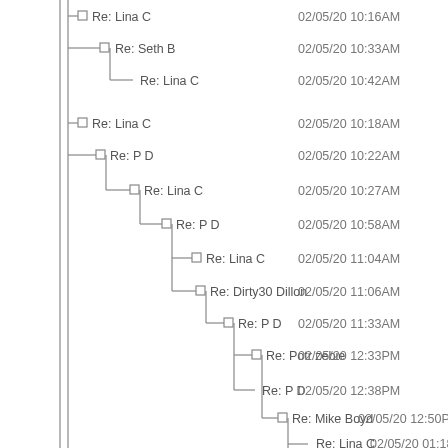[Figure (other): Email thread tree view showing a nested conversation with authors and timestamps. Entries include: Re: Lina C (02/05/20 10:16AM), Re: Seth B (02/05/20 10:33AM), Re: Lina C (02/05/20 10:42AM), Re: Lina C (02/05/20 10:18AM), Re: P D (02/05/20 10:22AM), Re: Lina C (02/05/20 10:27AM), Re: P D (02/05/20 10:58AM), Re: Lina C (02/05/20 11:04AM), Re: Dirty30 Dillon (02/05/20 11:06AM), Re: P D (02/05/20 11:33AM), Re: Potr zebie (02/05/20 12:33PM), Re: P D (02/05/20 12:38PM), Re: Mike Boyd (02/05/20 12:50PM), Re: Lina C (02/05/20 01:18PM).]